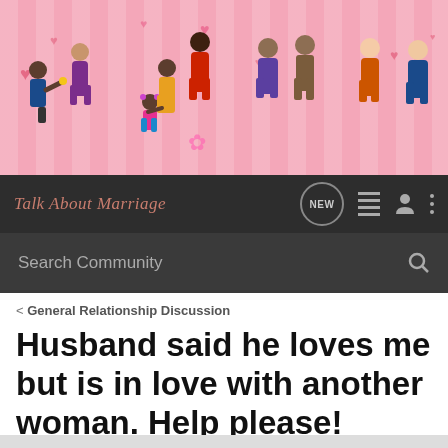[Figure (illustration): Website banner showing colorful illustrated couples and families (diverse people including a man proposing, a family with child, couples standing) on a pink striped background with heart shapes.]
Talk About Marriage — navigation bar with logo, NEW button, list icon, user icon, and more (three dots) icon
Search Community
< General Relationship Discussion
Husband said he loves me but is in love with another woman. Help please!
→ Jump to Latest
+ Follow